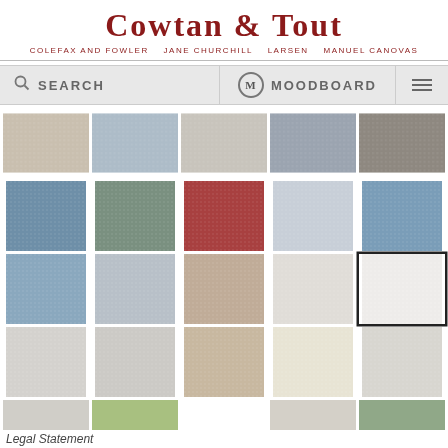[Figure (screenshot): Cowtan & Tout website screenshot showing brand logo, sub-brands (Colefax and Fowler, Jane Churchill, Larsen, Manuel Canovas), search/moodboard navigation bar, and a grid of fabric texture swatches in various colors including beige, gray, blue, green, red, white, and other neutral tones. One white swatch is highlighted with a black border. A Legal Statement link is partially visible at the bottom.]
Legal Statement